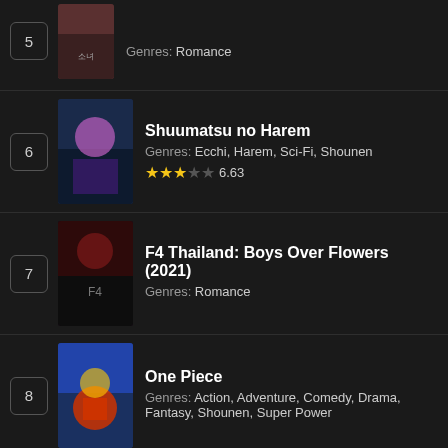5 — Genres: Romance
6 — Shuumatsu no Harem — Genres: Ecchi, Harem, Sci-Fi, Shounen — Rating: 6.63
7 — F4 Thailand: Boys Over Flowers (2021) — Genres: Romance
8 — One Piece — Genres: Action, Adventure, Comedy, Drama, Fantasy, Shounen, Super Power
9 — Single's Inferno (2021) — Genres: Romance — Rating: 8.2
10 — Ousama Ranking